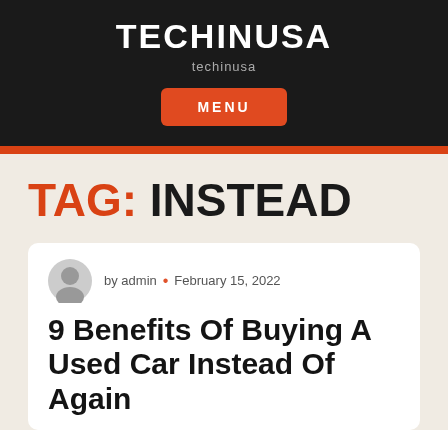TECHINUSA
techinusa
MENU
TAG: INSTEAD
by admin · February 15, 2022
9 Benefits Of Buying A Used Car Instead Of Again